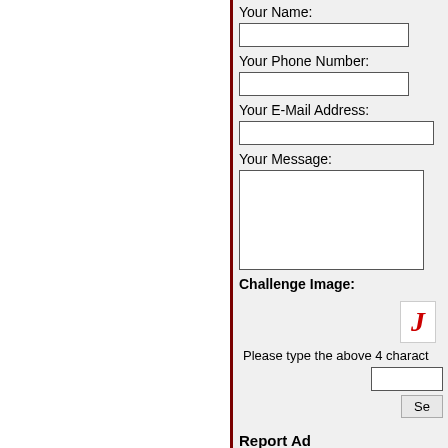Your Name:
Your Phone Number:
Your E-Mail Address:
Your Message:
Challenge Image:
Please type the above 4 charact
Popular Locations
* India
* Chennai
* North Delhi
* Bangalore
* Gautam Buddha Nagar
* Hyderabad
Report Ad
* Fraud / Scam
* Wrong Category / Location
* Spam / Overpost